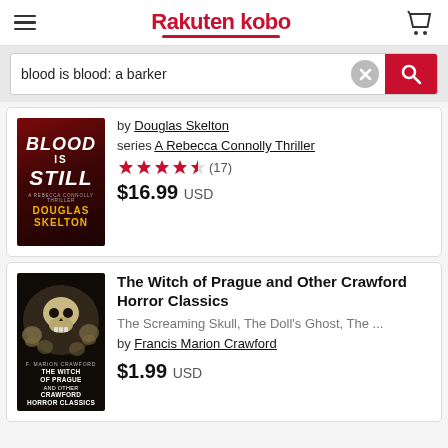Rakuten kobo
blood is blood: a barker
[Figure (photo): Book cover: Blood is Still by Douglas Skelton. Dark red background with white bold italic title text and gold author name.]
by Douglas Skelton
series A Rebecca Connolly Thriller
★★★★½ (17)
$16.99 USD
[Figure (photo): Book cover: The Witch of Prague and Other Crawford Horror Classics by F. Marion Crawford. Dark background with skulls image.]
The Witch of Prague and Other Crawford Horror Classics
The Screaming Skull, The Doll's Ghost, The ...
by Francis Marion Crawford
$1.99 USD